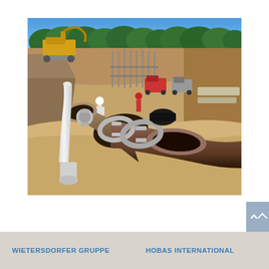[Figure (photo): Construction site photograph showing large diameter pipes (HOBAS pipes) being installed in an excavated pit. Foreground shows white and brown/grey large diameter pipes with metal clamps, workers in hardhats, an excavator and other vehicles visible in background. Sandy soil surrounds the excavation, with trees and blue sky visible at top.]
WIETERSDORFER GRUPPE    HOBAS INTERNATIONAL